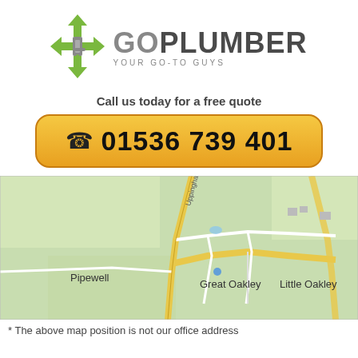[Figure (logo): GoPlumber logo with faucet/wrench icon and green arrows, text 'GOPLUMBER YOUR GO-TO GUYS']
Call us today for a free quote
☎ 01536 739 401
[Figure (map): Street map showing Pipewell, Great Oakley, Little Oakley area with Uppingham Rd and yellow roads]
* The above map position is not our office address